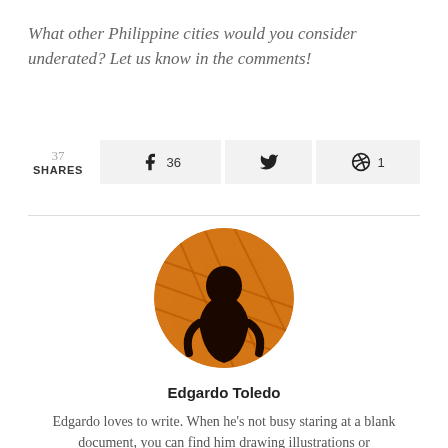What other Philippine cities would you consider underated? Let us know in the comments!
37 SHARES   36 (Facebook)   (Twitter)   1 (Pinterest)
[Figure (photo): Circular profile photo of Edgardo Toledo — a silhouette of a person against a warm orange/amber background with grid lines visible]
Edgardo Toledo
Edgardo loves to write. When he's not busy staring at a blank document, you can find him drawing illustrations or